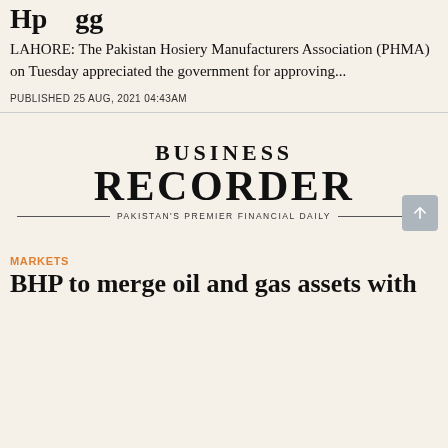Hp gg
LAHORE: The Pakistan Hosiery Manufacturers Association (PHMA) on Tuesday appreciated the government for approving...
PUBLISHED 25 AUG, 2021 04:43AM
[Figure (logo): Business Recorder logo — Pakistan's Premier Financial Daily]
MARKETS
BHP to merge oil and gas assets with